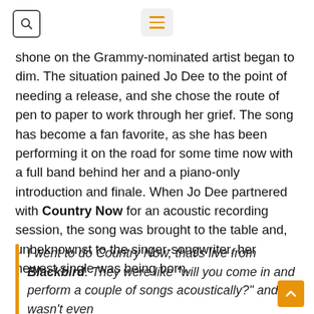[search icon] [hamburger menu icon]
shone on the Grammy-nominated artist began to dim. The situation pained Jo Dee to the point of needing a release, and she chose the route of pen to paper to work through her grief. The song has become a fan favorite, as she has been performing it on the road for some time now with a full band behind her and a piano-only introduction and finale. When Jo Dee partnered with Country Now for an acoustic recording session, the song was brought to the table and, unbeknownst to the singer-songwriter, her newest single was being born.
I went to do Country Now, that's live from Blackbird. They were like "will you come in and perform a couple of songs acoustically?" and I wasn't even